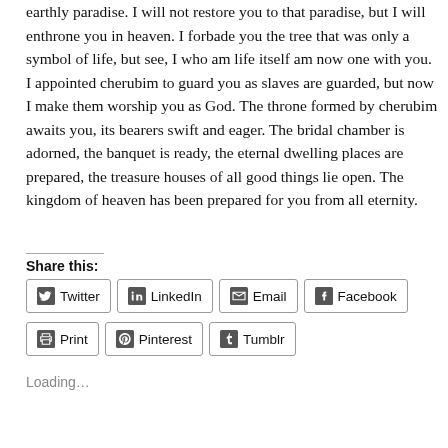earthly paradise. I will not restore you to that paradise, but I will enthrone you in heaven. I forbade you the tree that was only a symbol of life, but see, I who am life itself am now one with you. I appointed cherubim to guard you as slaves are guarded, but now I make them worship you as God. The throne formed by cherubim awaits you, its bearers swift and eager. The bridal chamber is adorned, the banquet is ready, the eternal dwelling places are prepared, the treasure houses of all good things lie open. The kingdom of heaven has been prepared for you from all eternity.
Share this:
Twitter LinkedIn Email Facebook Print Pinterest Tumblr
Loading...